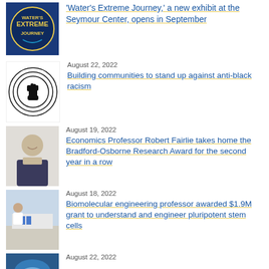[Figure (photo): Water's Extreme Journey exhibit logo with circular design]
'Water's Extreme Journey,' a new exhibit at the Seymour Center, opens in September
[Figure (illustration): Black fist raised in circle, anti-racism logo]
August 22, 2022
Building communities to stand up against anti-black racism
[Figure (photo): Portrait of Professor Robert Fairlie smiling in business attire]
August 19, 2022
Economics Professor Robert Fairlie takes home the Bradford-Osborne Research Award for the second year in a row
[Figure (photo): Biomolecular engineering lab scene with researchers]
August 18, 2022
Biomolecular engineering professor awarded $1.9M grant to understand and engineer pluripotent stem cells
[Figure (photo): Partial thumbnail of another news story]
August 22, 2022